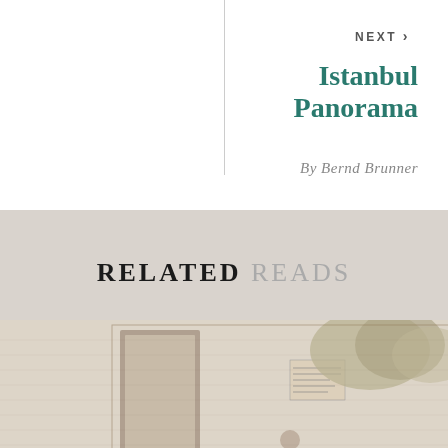NEXT >
Istanbul Panorama
By Bernd Brunner
RELATED READS
[Figure (illustration): A black and white etching or engraving depicting a street scene with several figures near a building, signs, and foliage in the background.]